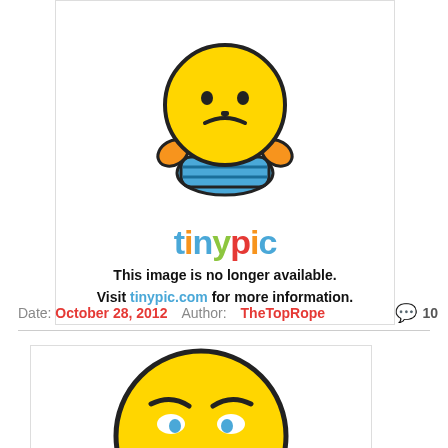[Figure (illustration): Tinypic broken image placeholder. Shows a cartoon robot/emoji mascot with yellow face, orange ears, blue body, frowning expression, with the 'tinypic' logo below in colorful letters, and the text 'This image is no longer available. Visit tinypic.com for more information.']
Date: October 28, 2012   Author: TheTopRope   💬 10
[Figure (illustration): Second Tinypic broken image placeholder. Shows a large yellow emoji/smiley face with frowning expression, orange ears, and hands on hips (partially visible, cropped at bottom).]